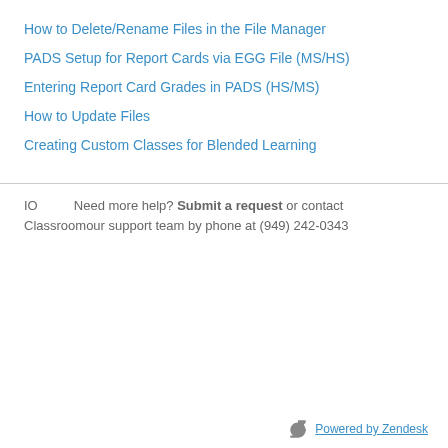How to Delete/Rename Files in the File Manager
PADS Setup for Report Cards via EGG File (MS/HS)
Entering Report Card Grades in PADS (HS/MS)
How to Update Files
Creating Custom Classes for Blended Learning
IO   Need more help? Submit a request or contact Classroomour support team by phone at (949) 242-0343
Powered by Zendesk